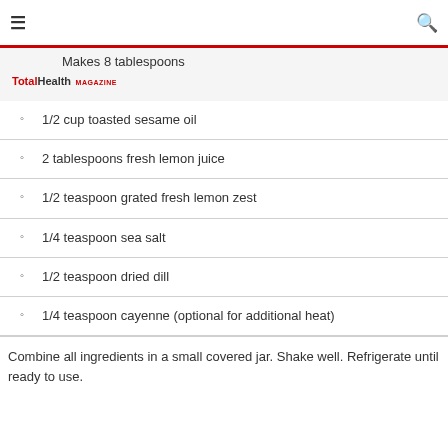≡  [search bar area]  🔍
Makes 8 tablespoons
[Figure (logo): TotalHealth MAGAZINE logo in red and dark grey]
1/2 cup toasted sesame oil
2 tablespoons fresh lemon juice
1/2 teaspoon grated fresh lemon zest
1/4 teaspoon sea salt
1/2 teaspoon dried dill
1/4 teaspoon cayenne (optional for additional heat)
Combine all ingredients in a small covered jar. Shake well. Refrigerate until ready to use.